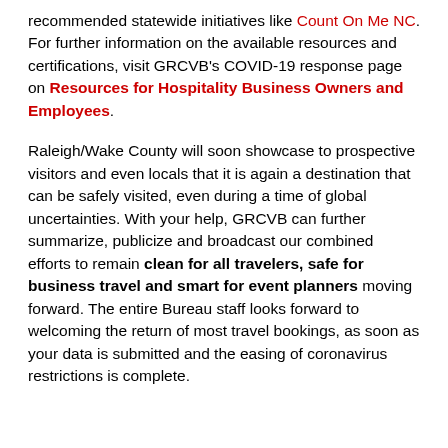recommended statewide initiatives like Count On Me NC. For further information on the available resources and certifications, visit GRCVB's COVID-19 response page on Resources for Hospitality Business Owners and Employees.
Raleigh/Wake County will soon showcase to prospective visitors and even locals that it is again a destination that can be safely visited, even during a time of global uncertainties. With your help, GRCVB can further summarize, publicize and broadcast our combined efforts to remain clean for all travelers, safe for business travel and smart for event planners moving forward. The entire Bureau staff looks forward to welcoming the return of most travel bookings, as soon as your data is submitted and the easing of coronavirus restrictions is complete.